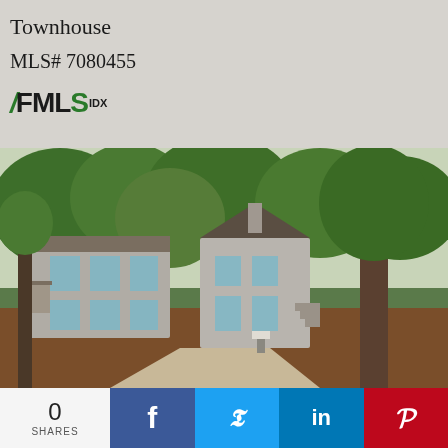Townhouse
MLS# 7080455
[Figure (logo): FMLS IDX logo in green and black]
[Figure (photo): Exterior photo of a townhouse community surrounded by large trees, with a concrete walkway, mulched ground, and gray multi-story residential buildings.]
0 SHARES
[Figure (infographic): Social sharing buttons: Facebook, Twitter, LinkedIn, Pinterest]